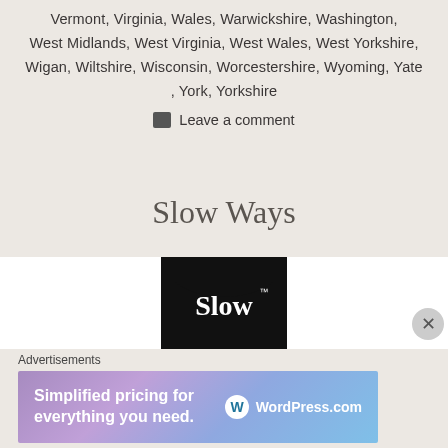Vermont, Virginia, Wales, Warwickshire, Washington, West Midlands, West Virginia, West Wales, West Yorkshire, Wigan, Wiltshire, Wisconsin, Worcestershire, Wyoming, Yate, York, Yorkshire
Leave a comment
Slow Ways
[Figure (logo): Slow Ways logo: a black semicircle with 'Slow' text in white serif font with trademark symbol]
Advertisements
[Figure (screenshot): WordPress.com advertisement banner: 'Simplified pricing for everything you need.' with WordPress.com logo on gradient purple-blue background]